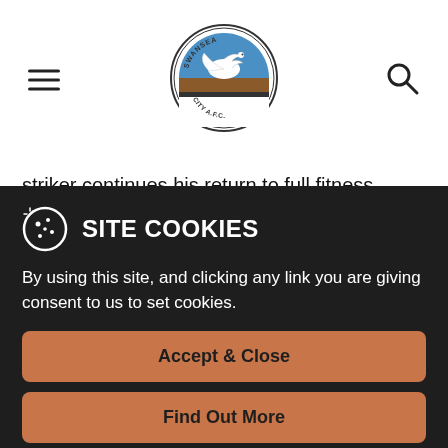[Figure (logo): Swansea City A.F.C. circular club crest logo with swan and blue/brown colors]
striker continues his return to full fitness, while fellow new boy Alfie Mawson is in contention to make his first appearance for the club since signing from Barnsley in August.
Despite it being only five months ago since Swansea last
SITE COOKIES
By using this site, and clicking any link you are giving consent to us to set cookies.
Accept & Close
Find Out More